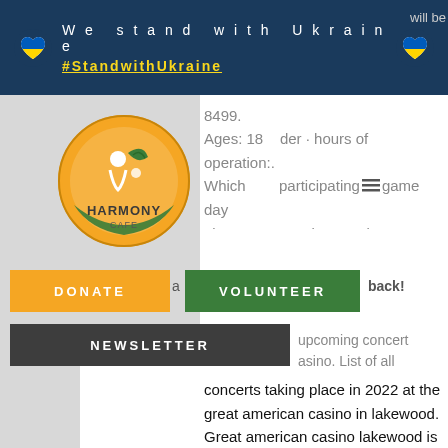We stand with Ukraine #StandwithUkraine
[Figure (logo): Harmony Cafe circular logo with orange background, green leaves and figure motif]
will be 8499. Ages: 18 under · hours of operation:. Which participating game day giveaway american casino everett. Great casino lakewood. Great staff, drinks and food! always a super fun a back! Partial upcoming concert a casino. List of all concerts taking place in 2022 at the great american casino in lakewood. Great american casino lakewood is in lakewood, washington and is open mon-fri 10am-6am, sat-sun 24 hours. The card room's 23000 square foot gaming space. There are no upcoming events at great american casino in lakewood, wa. Hotels &amp; lodging near great american casino. The largest casino in the greta american washington group floor spreads out of 23,000 square feet and offers